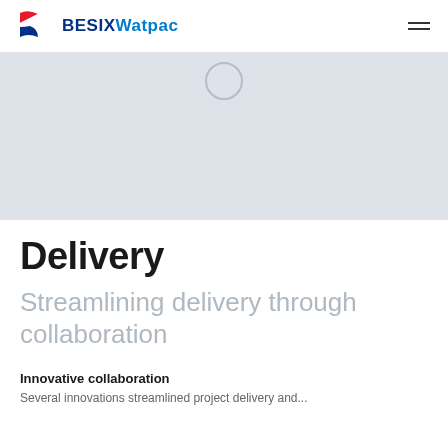BESIX Watpac
[Figure (photo): Light grey hero image placeholder with a faint circle outline at the top center]
Delivery
Streamlining delivery through collaboration
Innovative collaboration
Several innovations streamlined project delivery and...